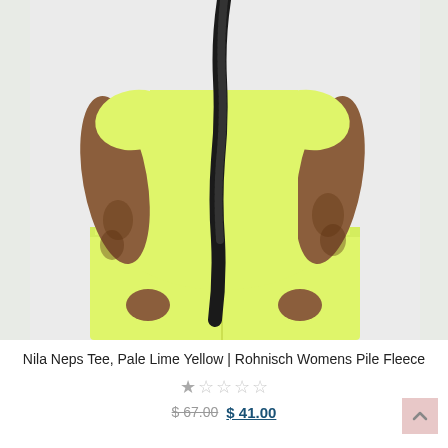[Figure (photo): A model wearing a pale lime yellow oversized fleece tee and matching pale lime yellow shorts/biker shorts. The model has long dark braided hair. Tattoos visible on both arms. Background is light grey. Cropped view showing torso and arms.]
Nila Neps Tee, Pale Lime Yellow | Rohnisch Womens Pile Fleece
★☆☆☆☆
$ 67.00  $ 41.00